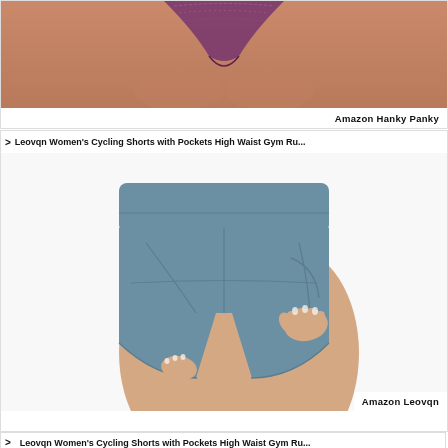[Figure (photo): Cropped product photo showing close-up of lower torso wearing a purple lace thong underwear (Amazon Hanky Panky). Skin-toned background. Label reads 'Amazon Hanky Panky' in bottom-right corner.]
Amazon Hanky Panky
> Leovqn Women's Cycling Shorts with Pockets High Waist Gym Ru...
[Figure (photo): Product photo of a woman wearing blue-grey high-waist cycling/bike shorts with side pocket. Model is shown from waist to thigh, hand in pocket. Label reads 'Amazon Leovqn' in bottom-right corner.]
Amazon Leovqn
> Leovqn Women's Cycling Shorts with Pockets High Waist Gym Ru...